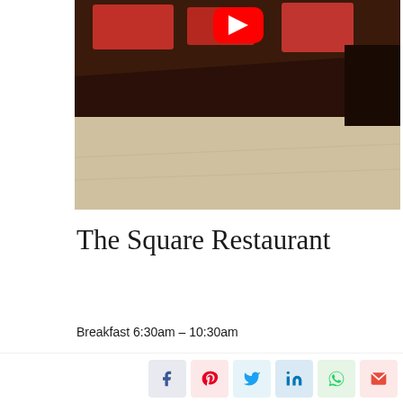[Figure (screenshot): YouTube video thumbnail showing a restaurant interior with dark wooden table/bar, red menu holders, and beige stone floor. A red YouTube play button is visible at the top.]
The Square Restaurant
Breakfast 6:30am – 10:30am
Lunch Menu F...